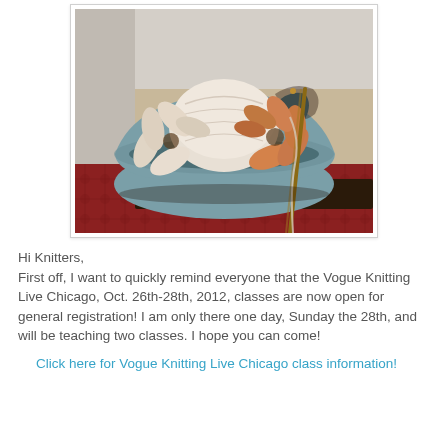[Figure (photo): A ceramic yarn bowl with floral petal designs in cream/orange on a teal/blue-grey glaze, containing a ball of white yarn. Knitting needles visible. Set on a red patterned textile background.]
Hi Knitters,
First off, I want to quickly remind everyone that the Vogue Knitting Live Chicago, Oct. 26th-28th, 2012, classes are now open for general registration! I am only there one day, Sunday the 28th, and will be teaching two classes. I hope you can come!
Click here for Vogue Knitting Live Chicago class information!